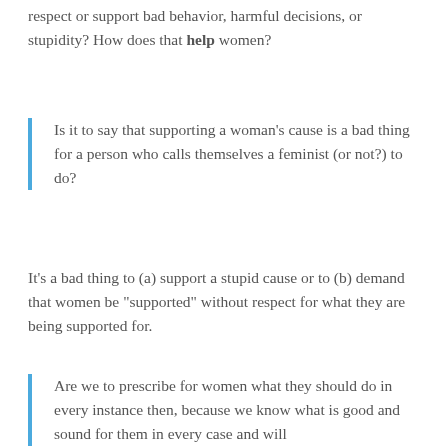respect or support bad behavior, harmful decisions, or stupidity? How does that help women?
Is it to say that supporting a woman's cause is a bad thing for a person who calls themselves a feminist (or not?) to do?
It's a bad thing to (a) support a stupid cause or to (b) demand that women be "supported" without respect for what they are being supported for.
Are we to prescribe for women what they should do in every instance then, because we know what is good and sound for them in every case and will